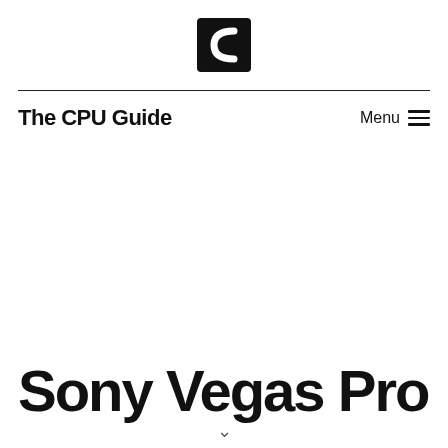[Figure (logo): Black square logo with white C-shaped bracket symbol]
The CPU Guide
Sony Vegas Pro